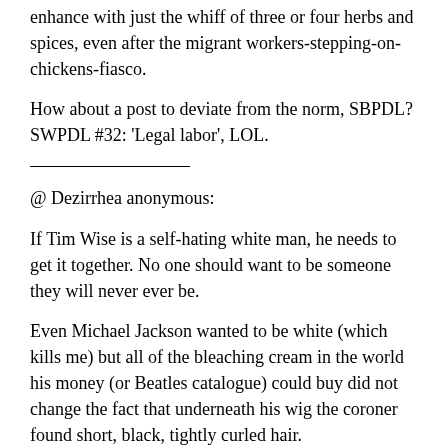enhance with just the whiff of three or four herbs and spices, even after the migrant workers-stepping-on-chickens-fiasco.
How about a post to deviate from the norm, SBPDL? SWPDL #32: 'Legal labor', LOL.
@ Dezirrhea anonymous:
If Tim Wise is a self-hating white man, he needs to get it together. No one should want to be someone they will never ever be.
Even Michael Jackson wanted to be white (which kills me) but all of the bleaching cream in the world his money (or Beatles catalogue) could buy did not change the fact that underneath his wig the coroner found short, black, tightly curled hair.
I am not uniquely picking on Cry Me a river bitch. I am just a little past bubbling in patience. I'll bring the same up. He...